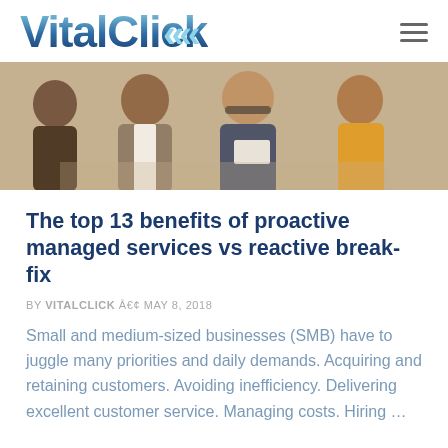[Figure (logo): VitalClick logo with teal/blue gradient text and triple left-pointing arrows]
[Figure (photo): Group of four business people sitting together smiling, reviewing documents]
The top 13 benefits of proactive managed services vs reactive break-fix
BY VITALCLICK Â€¢ MAY 8, 2018
Small and medium-sized businesses (SMB) have to juggle many priorities and daily demands. Acquiring and retaining customers. Avoiding inefficiency. Delivering excellent customer service. Managing costs. Hiring …